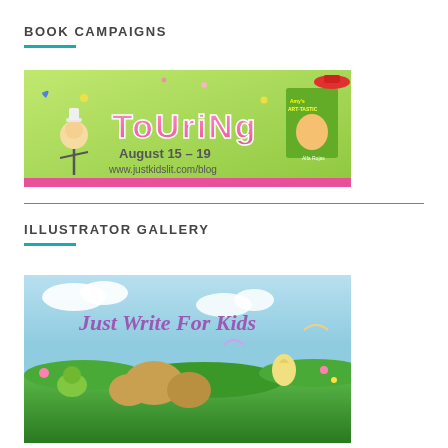BOOK CAMPAIGNS
[Figure (illustration): Touring book campaign banner for August 15-19, showing colorful cartoon characters and text 'ToUriNg August 15 – 19 www.justkidslit.com/blog']
ILLUSTRATOR GALLERY
[Figure (illustration): Just Write For Kids banner with colorful jungle/garden scene featuring animated animal characters]